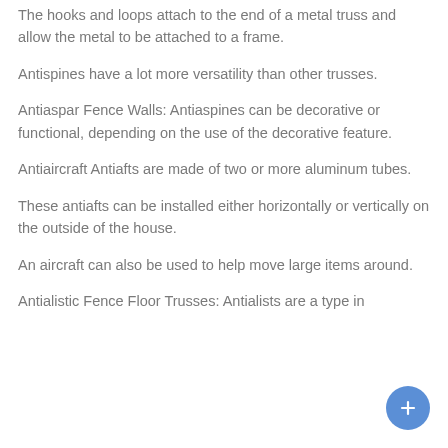The hooks and loops attach to the end of a metal truss and allow the metal to be attached to a frame.
Antispines have a lot more versatility than other trusses.
Antiaspar Fence Walls: Antiaspines can be decorative or functional, depending on the use of the decorative feature.
Antiaircraft Antiafts are made of two or more aluminum tubes.
These antiafts can be installed either horizontally or vertically on the outside of the house.
An aircraft can also be used to help move large items around.
Antialistic Fence Floor Trusses: Antialists are a type in